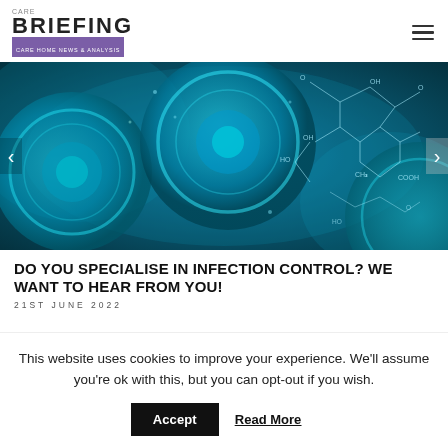CARE BRIEFING — Care Home News & Analysis
[Figure (photo): Close-up microscope image of blue-tinted virus or cell structures with chemical molecular diagrams overlaid, teal/cyan color scheme.]
DO YOU SPECIALISE IN INFECTION CONTROL? WE WANT TO HEAR FROM YOU!
21ST JUNE 2022
This website uses cookies to improve your experience. We'll assume you're ok with this, but you can opt-out if you wish.
Accept   Read More